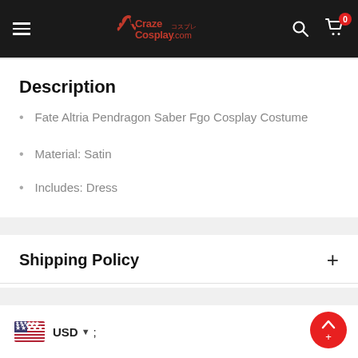CrazeCosplay.com
Description
Fate Altria Pendragon Saber Fgo Cosplay Costume
Material: Satin
Includes: Dress
Shipping Policy +
USD